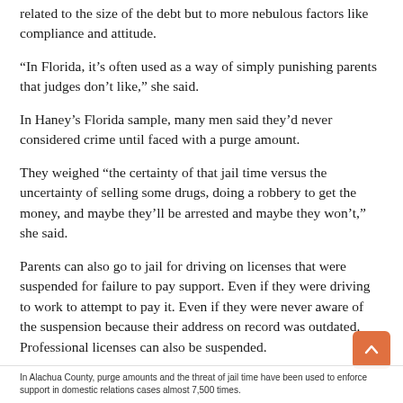related to the size of the debt but to more nebulous factors like compliance and attitude.
“In Florida, it’s often used as a way of simply punishing parents that judges don’t like,” she said.
In Haney’s Florida sample, many men said they’d never considered crime until faced with a purge amount.
They weighed “the certainty of that jail time versus the uncertainty of selling some drugs, doing a robbery to get the money, and maybe they’ll be arrested and maybe they won’t,” she said.
Parents can also go to jail for driving on licenses that were suspended for failure to pay support. Even if they were driving to work to attempt to pay it. Even if they were never aware of the suspension because their address on record was outdated. Professional licenses can also be suspended.
In Alachua County, purge amounts and the threat of jail time have been used to enforce support in domestic relations cases almost 7,500 times.